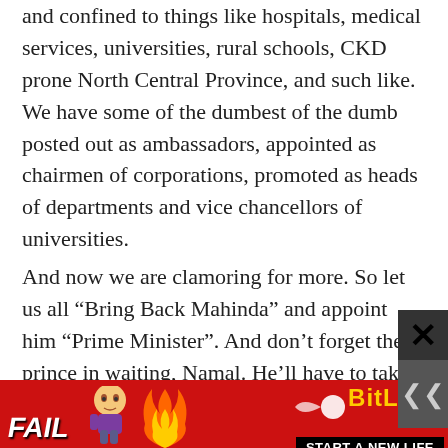and confined to things like hospitals, medical services, universities, rural schools, CKD prone North Central Province, and such like. We have some of the dumbest of the dumb posted out as ambassadors, appointed as chairmen of corporations, promoted as heads of departments and vice chancellors of universities.
And now we are clamoring for more. So let us all “Bring Back Mahinda” and appoint him “Prime Minister”. And don’t forget the prince in waiting, Namal. He’ll have to take over when the old man retires! So let’s make him the Leader of the House.
Mahinda Maha Rajaneni ta Jayawewa!!!
[Figure (other): BitLife advertisement banner with FAIL text, cartoon character, flames, sperm logo, and 'START A NEW LIFE' tagline]